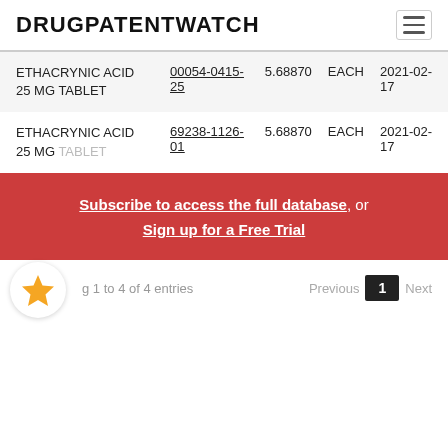DRUGPATENTWATCH
| Drug Name | NDC | Price | Unit | Date |
| --- | --- | --- | --- | --- |
| ETHACRYNIC ACID 25 MG TABLET | 00054-0415-25 | 5.68870 | EACH | 2021-02-17 |
| ETHACRYNIC ACID 25 MG TABLET | 69238-1126-01 | 5.68870 | EACH | 2021-02-17 |
Subscribe to access the full database, or Sign up for a Free Trial
Showing 1 to 4 of 4 entries
Previous 1 Next